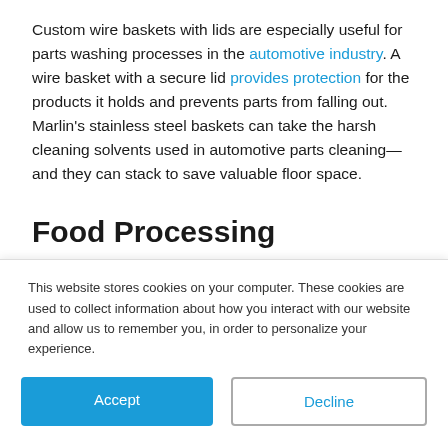Custom wire baskets with lids are especially useful for parts washing processes in the automotive industry. A wire basket with a secure lid provides protection for the products it holds and prevents parts from falling out. Marlin's stainless steel baskets can take the harsh cleaning solvents used in automotive parts cleaning—and they can stack to save valuable floor space.
Food Processing
Stainless steel custom wire baskets with lids are
This website stores cookies on your computer. These cookies are used to collect information about how you interact with our website and allow us to remember you, in order to personalize your experience.